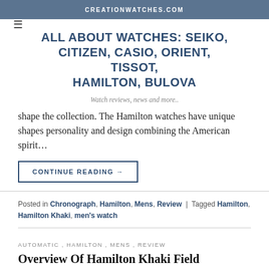CREATIONWATCHES.COM
ALL ABOUT WATCHES: SEIKO, CITIZEN, CASIO, ORIENT, TISSOT, HAMILTON, BULOVA
Watch reviews, news and more..
shape the collection. The Hamilton watches have unique shapes personality and design combining the American spirit...
CONTINUE READING →
Posted in Chronograph, Hamilton, Mens, Review | Tagged Hamilton, Hamilton Khaki, men's watch
AUTOMATIC , HAMILTON , MENS , REVIEW
Overview Of Hamilton Khaki Field Automatic